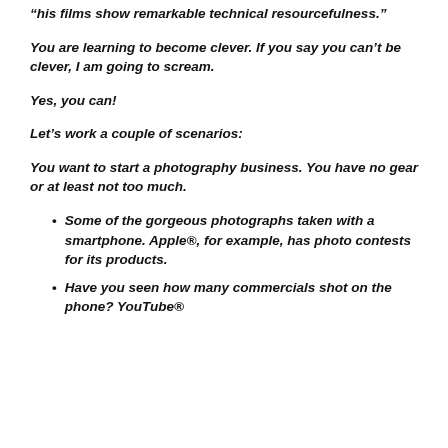“his films show remarkable technical resourcefulness.”
You are learning to become clever. If you say you can’t be clever, I am going to scream.
Yes, you can!
Let’s work a couple of scenarios:
You want to start a photography business. You have no gear or at least not too much.
Some of the gorgeous photographs taken with a smartphone. Apple®, for example, has photo contests for its products.
Have you seen how many commercials shot on the phone? YouTube®